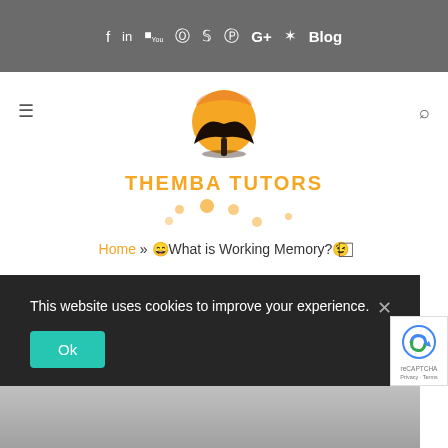f in YouTube Instagram Twitter Pinterest G+ Yelp Blog
[Figure (logo): Themba Tutors logo: African acacia tree silhouette against orange sun circle]
THEMBA TUTORS
Home » 🙂What is Working Memory?🙂
This website uses cookies to improve your experience.
Ok
[Figure (logo): Google reCAPTCHA badge with Privacy and Terms links]